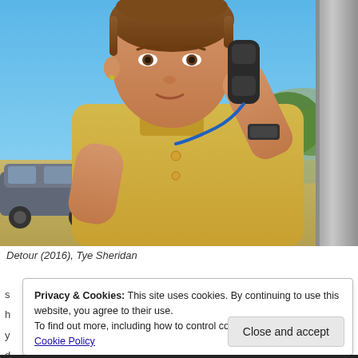[Figure (photo): A young man with brown hair wearing a yellow shirt, holding a telephone receiver to his ear. Outdoor scene with a blue sky, trees, and a car visible in the background. A concrete pillar is on the right side.]
Detour (2016), Tye Sheridan
Privacy & Cookies: This site uses cookies. By continuing to use this website, you agree to their use. To find out more, including how to control cookies, see here: Our Cookie Policy
Close and accept